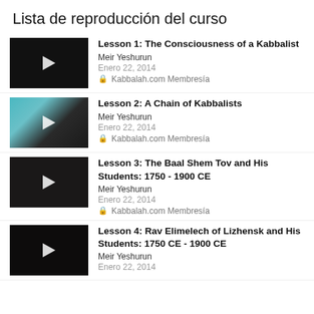Lista de reproducción del curso
Lesson 1: The Consciousness of a Kabbalist | Meir Yeshurun | Enero 22, 2014 | Kabbalah.com Membresía
Lesson 2: A Chain of Kabbalists | Meir Yeshurun | Enero 22, 2014 | Kabbalah.com Membresía
Lesson 3: The Baal Shem Tov and His Students: 1750 - 1900 CE | Meir Yeshurun | Enero 22, 2014 | Kabbalah.com Membresía
Lesson 4: Rav Elimelech of Lizhensk and His Students: 1750 CE - 1900 CE | Meir Yeshurun | Enero 22, 2014